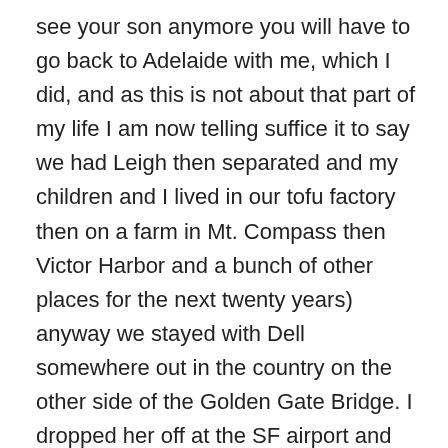see your son anymore you will have to go back to Adelaide with me, which I did, and as this is not about that part of my life I am now telling suffice it to say we had Leigh then separated and my children and I lived in our tofu factory then on a farm in Mt. Compass then Victor Harbor and a bunch of other places for the next twenty years) anyway we stayed with Dell somewhere out in the country on the other side of the Golden Gate Bridge. I dropped her off at the SF airport and stayed with a female friend of Dell's. I remember she was a Pisces and she helped me forget my recent traveling companion or at least until she rang me when I had gotten to Hawaii saying 'guess what'? I kept in touch with Dell after going back to Australia after he we had stayed with him in NYC for a night. He never mentioned coming to visit like my other friends. He did write letters. They are very difficult to read